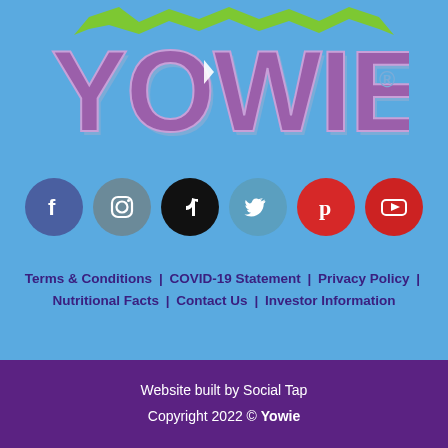[Figure (logo): Yowie brand logo in large purple bubble letters with green and blue accents, registered trademark symbol]
[Figure (infographic): Row of six social media icons: Facebook (blue circle with f), Instagram (grey circle with camera icon), TikTok (black circle with musical note), Twitter (blue circle with bird), Pinterest (red circle with P), YouTube (red circle with play button)]
Terms & Conditions | COVID-19 Statement | Privacy Policy | Nutritional Facts | Contact Us | Investor Information
Website built by Social Tap
Copyright 2022 © Yowie